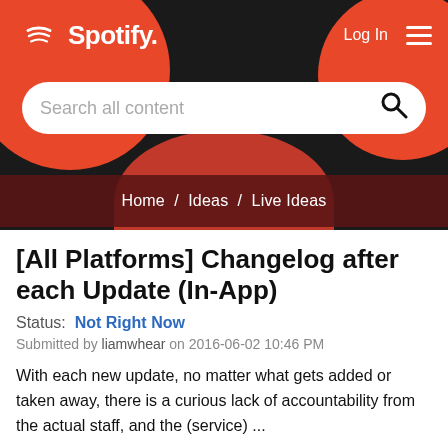[Figure (screenshot): Spotify website header with logo, Log In button, hamburger menu, search bar with 'Search all content' placeholder, decorative red and dark circles, and breadcrumb navigation showing Home / Ideas / Live Ideas]
[All Platforms] Changelog after each Update (In-App)
Status:  Not Right Now
Submitted by liamwhear on 2016-06-02 10:46 PM
With each new update, no matter what gets added or taken away, there is a curious lack of accountability from the actual staff, and the (service) ...